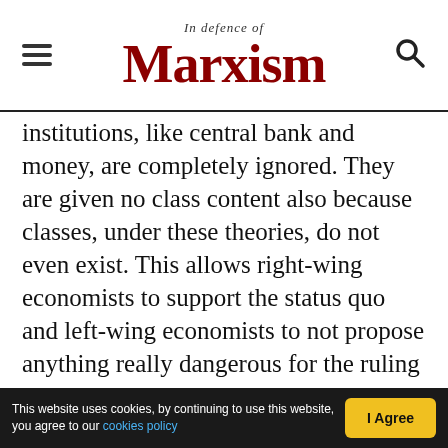In defence of Marxism
institutions, like central bank and money, are completely ignored. They are given no class content also because classes, under these theories, do not even exist. This allows right-wing economists to support the status quo and left-wing economists to not propose anything really dangerous for the ruling class.
Their stance on money derives from this attitude. On the one hand, we have the childish dream of an automatic stabiliser of capitalism. These fantasies, either in the realm of “market discipline” in financial regulation or in the digital world through
This website uses cookies, by continuing to use this website, you agree to our cookies policy | I Agree